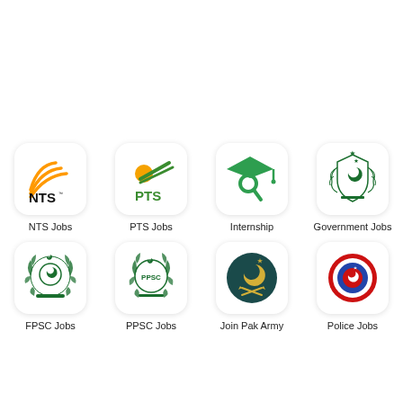[Figure (logo): NTS logo with orange arc swoosh lines and NTS text with TM mark]
NTS Jobs
[Figure (logo): PTS logo with orange sun and green swoosh, PTS text]
PTS Jobs
[Figure (illustration): Green graduation cap mortarboard with magnifying glass icon]
Internship
[Figure (logo): Pakistan Government emblem - green crescent and star with wreath]
Government Jobs
[Figure (logo): FPSC - Federal Public Service Commission green emblem with wreath]
FPSC Jobs
[Figure (logo): PPSC - Punjab Public Service Commission green emblem]
PPSC Jobs
[Figure (logo): Pakistan Army emblem - dark teal circle with crescent, star and crossed swords]
Join Pak Army
[Figure (logo): Pakistan Police emblem - red and blue circular badge]
Police Jobs